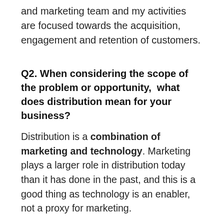and marketing team and my activities are focused towards the acquisition, engagement and retention of customers.
Q2. When considering the scope of the problem or opportunity,  what does distribution mean for your business?
Distribution is a combination of marketing and technology. Marketing plays a larger role in distribution today than it has done in the past, and this is a good thing as technology is an enabler, not a proxy for marketing.